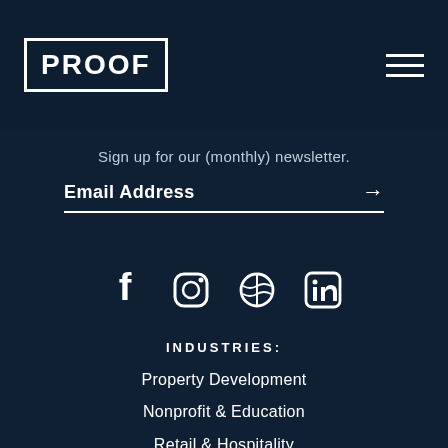PROOF
Sign up for our (monthly) newsletter.
Email Address →
[Figure (other): Social media icons: Facebook, Instagram, Dribbble, LinkedIn]
INDUSTRIES:
Property Development
Nonprofit & Education
Retail & Hospitality